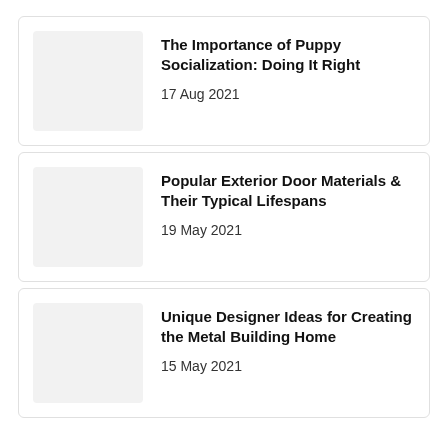[Figure (photo): Placeholder thumbnail image (light grey rectangle)]
The Importance of Puppy Socialization: Doing It Right
17 Aug 2021
[Figure (photo): Placeholder thumbnail image (light grey rectangle)]
Popular Exterior Door Materials & Their Typical Lifespans
19 May 2021
[Figure (photo): Placeholder thumbnail image (light grey rectangle)]
Unique Designer Ideas for Creating the Metal Building Home
15 May 2021